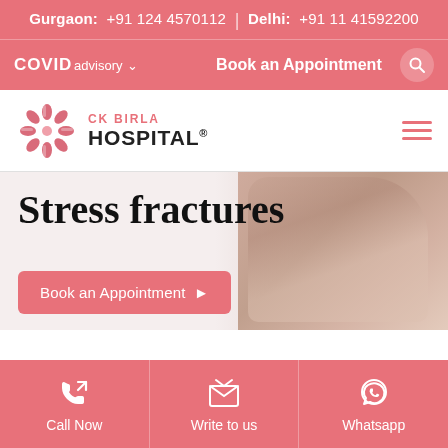Gurgaon: +91 124 4570112 | Delhi: +91 11 41592200
COVID advisory | Book an Appointment
[Figure (logo): CK Birla Hospital logo with pink floral/cross emblem and text CK BIRLA HOSPITAL]
Stress fractures
Book an Appointment
Call Now
Write to us
Whatsapp